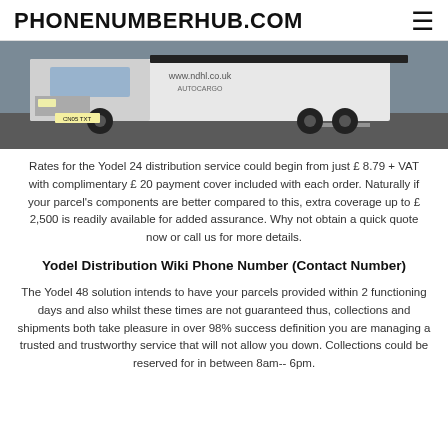PHONENUMBERHUB.COM
[Figure (photo): A white articulated lorry/truck with www.ndhl.co.uk written on it, driving on a road. The truck appears to be a car transporter.]
Rates for the Yodel 24 distribution service could begin from just £ 8.79 + VAT with complimentary £ 20 payment cover included with each order. Naturally if your parcel's components are better compared to this, extra coverage up to £ 2,500 is readily available for added assurance. Why not obtain a quick quote now or call us for more details.
Yodel Distribution Wiki Phone Number (Contact Number)
The Yodel 48 solution intends to have your parcels provided within 2 functioning days and also whilst these times are not guaranteed thus, collections and shipments both take pleasure in over 98% success definition you are managing a trusted and trustworthy service that will not allow you down. Collections could be reserved for in between 8am-- 6pm.